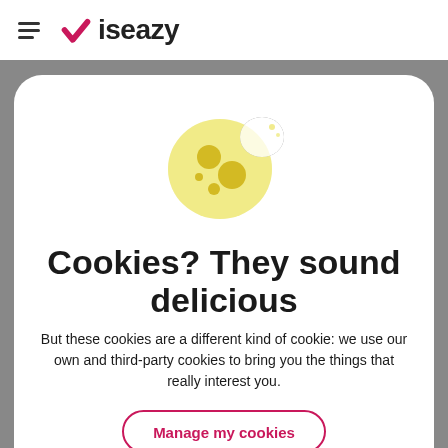iseazy
[Figure (illustration): Cookie emoji illustration — round yellow cookie with bite taken out, dark yellow chocolate chip spots]
Cookies? They sound delicious
But these cookies are a different kind of cookie: we use our own and third-party cookies to bring you the things that really interest you.
Manage my cookies